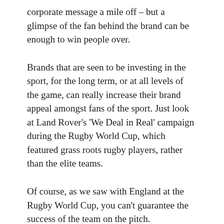corporate message a mile off – but a glimpse of the fan behind the brand can be enough to win people over.
Brands that are seen to be investing in the sport, for the long term, or at all levels of the game, can really increase their brand appeal amongst fans of the sport. Just look at Land Rover's 'We Deal in Real' campaign during the Rugby World Cup, which featured grass roots rugby players, rather than the elite teams.
Of course, as we saw with England at the Rugby World Cup, you can't guarantee the success of the team on the pitch.